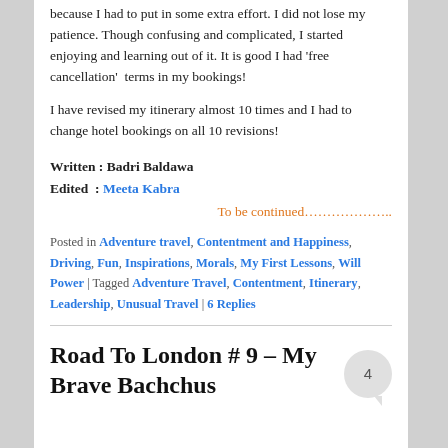because I had to put in some extra effort. I did not lose my patience. Though confusing and complicated, I started enjoying and learning out of it. It is good I had ‘free cancellation’  terms in my bookings!
I have revised my itinerary almost 10 times and I had to change hotel bookings on all 10 revisions!
Written : Badri Baldawa
Edited  : Meeta Kabra
To be continued………………..
Posted in Adventure travel, Contentment and Happiness, Driving, Fun, Inspirations, Morals, My First Lessons, Will Power | Tagged Adventure Travel, Contentment, Itinerary, Leadership, Unusual Travel | 6 Replies
Road To London # 9 – My Brave Bachchus